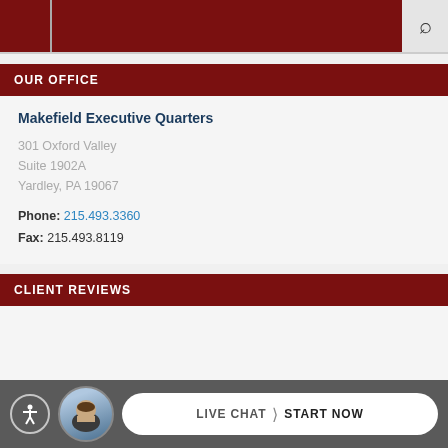OUR OFFICE
Makefield Executive Quarters
301 Oxford Valley
Suite 1902A
Yardley, PA 19067
Phone: 215.493.3360
Fax: 215.493.8119
CLIENT REVIEWS
LIVE CHAT  START NOW